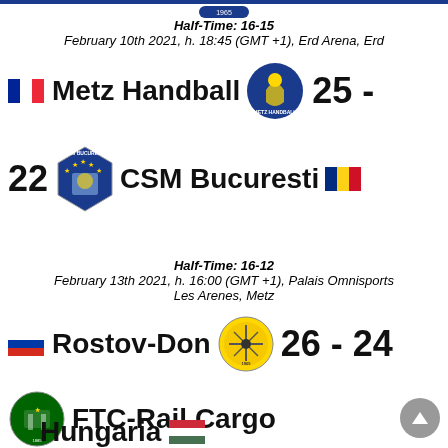Half-Time: 16-15
February 10th 2021, h. 18:45 (GMT +1), Erd Arena, Erd
Metz Handball 25 -
22 CSM Bucuresti
Half-Time: 16-12
February 13th 2021, h. 16:00 (GMT +1), Palais Omnisports Les Arenes, Metz
Rostov-Don 26 - 24
FTC-Rail Cargo
Hungaria